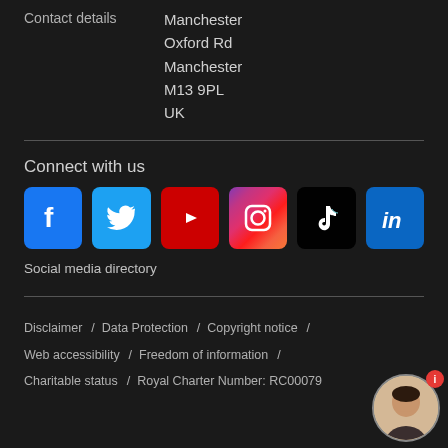Contact details
Manchester
Oxford Rd
Manchester
M13 9PL
UK
Connect with us
[Figure (infographic): Six social media icons in a row: Facebook, Twitter, YouTube, Instagram, TikTok, LinkedIn]
Social media directory
Disclaimer / Data Protection / Copyright notice / Web accessibility / Freedom of information / Charitable status / Royal Charter Number: RC00079